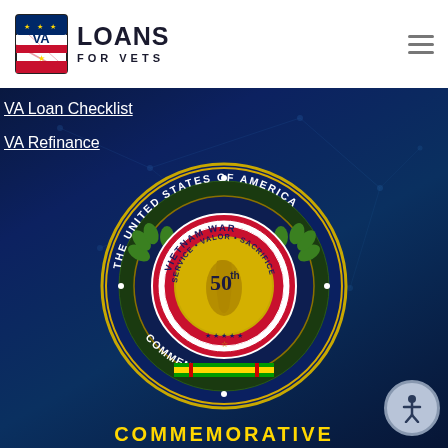[Figure (logo): VA Loans For Vets logo with VA shield emblem and bold text]
VA Loan Checklist
VA Refinance
[Figure (illustration): The United States of America Vietnam War 50th Commemoration seal/medallion with valor, service, sacrifice text and Vietnam service ribbon on dark blue network background]
COMMEMORATIVE